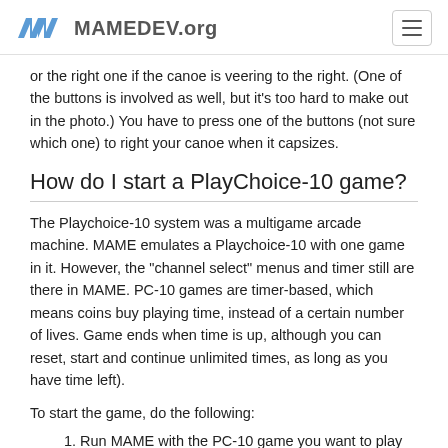MAME MAMEDEV.org
or the right one if the canoe is veering to the right. (One of the buttons is involved as well, but it's too hard to make out in the photo.) You have to press one of the buttons (not sure which one) to right your canoe when it capsizes.
How do I start a PlayChoice-10 game?
The Playchoice-10 system was a multigame arcade machine. MAME emulates a Playchoice-10 with one game in it. However, the "channel select" menus and timer still are there in MAME. PC-10 games are timer-based, which means coins buy playing time, instead of a certain number of lives. Game ends when time is up, although you can reset, start and continue unlimited times, as long as you have time left).
To start the game, do the following:
Run MAME with the PC-10 game you want to play (ex. "MAME PC_SMB3" would run Super Mario Bros 3, or "MAME PC_RCPAM" would run RC Pro-AM).